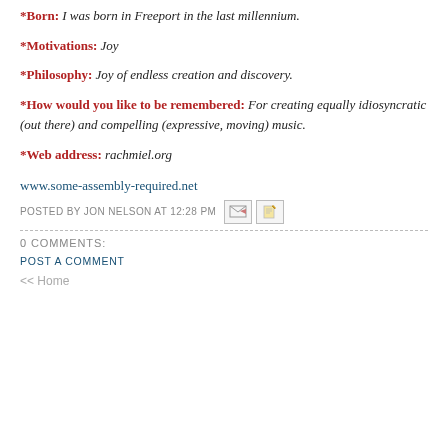*Born: I was born in Freeport in the last millennium.
*Motivations: Joy
*Philosophy: Joy of endless creation and discovery.
*How would you like to be remembered: For creating equally idiosyncratic (out there) and compelling (expressive, moving) music.
*Web address: rachmiel.org
www.some-assembly-required.net
POSTED BY JON NELSON AT 12:28 PM
0 COMMENTS:
POST A COMMENT
<< Home